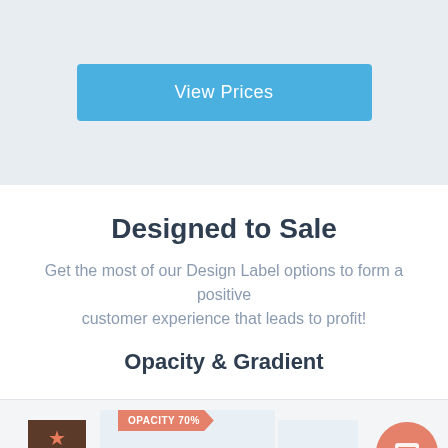[Figure (screenshot): Blue 'View Prices' button on a light grey background]
Designed to Sale
Get the most of our Design Label options to form a positive customer experience that leads to profit!
Opacity & Gradient
[Figure (screenshot): Preview of label/badge designs including a dark brown badge with star icon, an orange ribbon tag reading 'OPACITY 70%', and a circular orange chat button]